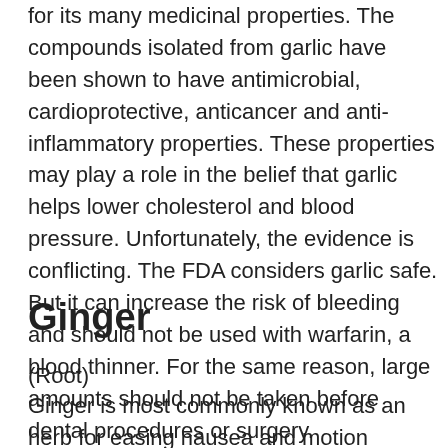for its many medicinal properties. The compounds isolated from garlic have been shown to have antimicrobial, cardioprotective, anticancer and anti-inflammatory properties. These properties may play a role in the belief that garlic helps lower cholesterol and blood pressure. Unfortunately, the evidence is conflicting. The FDA considers garlic safe. But it can increase the risk of bleeding and should not be used with warfarin, a blood thinner. For the same reason, large amounts should not be taken before dental procedures or surgery.
Ginger
(Root)
Ginger is most commonly known as an herb for easing nausea and motion sickness. Research suggests that